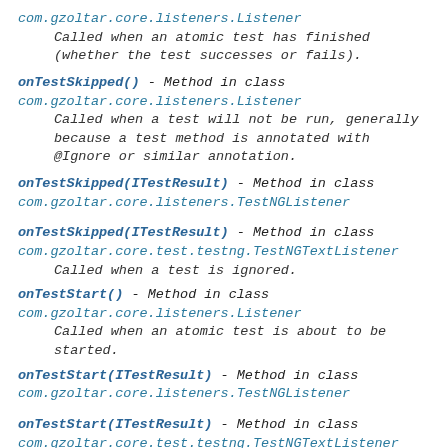com.gzoltar.core.listeners.Listener
Called when an atomic test has finished (whether the test successes or fails).
onTestSkipped() - Method in class com.gzoltar.core.listeners.Listener
Called when a test will not be run, generally because a test method is annotated with @Ignore or similar annotation.
onTestSkipped(ITestResult) - Method in class com.gzoltar.core.listeners.TestNGListener
onTestSkipped(ITestResult) - Method in class com.gzoltar.core.test.testng.TestNGTextListener
Called when a test is ignored.
onTestStart() - Method in class com.gzoltar.core.listeners.Listener
Called when an atomic test is about to be started.
onTestStart(ITestResult) - Method in class com.gzoltar.core.listeners.TestNGListener
onTestStart(ITestResult) - Method in class com.gzoltar.core.test.testng.TestNGTextListener